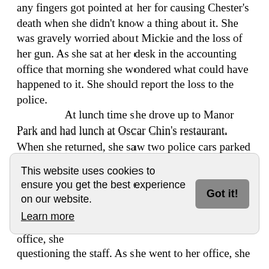and took control of everything. Sonya was petrified lest any fingers got pointed at her for causing Chester's death when she didn't know a thing about it. She was gravely worried about Mickie and the loss of her gun. As she sat at her desk in the accounting office that morning she wondered what could have happened to it. She should report the loss to the police. At lunch time she drove up to Manor Park and had lunch at Oscar Chin's restaurant. When she returned, she saw two police cars parked in the customer's parking lot. She became petrified and wondered what they wanted. One of the security guards pointed to the two police cars and told her that detectives were inside questioning the staff. As she went to her office, she
This website uses cookies to ensure you get the best experience on our website. Learn more
questioning the staff. As she went to her office, she